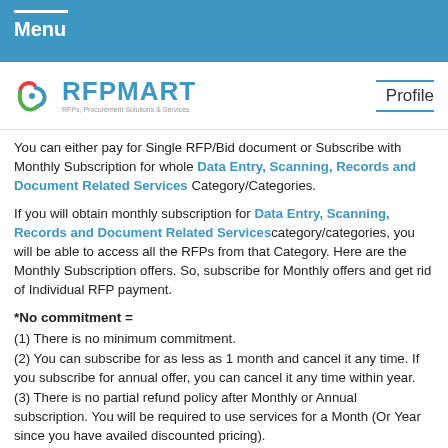Menu
[Figure (logo): RFPMART logo with tagline 'RFPs, Procurement Solutions & Services']
You can either pay for Single RFP/Bid document or Subscribe with Monthly Subscription for whole Data Entry, Scanning, Records and Document Related Services Category/Categories.
If you will obtain monthly subscription for Data Entry, Scanning, Records and Document Related Services category/categories, you will be able to access all the RFPs from that Category. Here are the Monthly Subscription offers. So, subscribe for Monthly offers and get rid of Individual RFP payment.
*No commitment =
(1) There is no minimum commitment.
(2) You can subscribe for as less as 1 month and cancel it any time. If you subscribe for annual offer, you can cancel it any time within year.
(3) There is no partial refund policy after Monthly or Annual subscription. You will be required to use services for a Month (Or Year since you have availed discounted pricing).